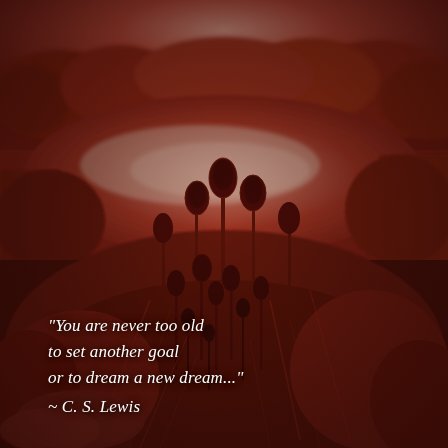[Figure (photo): A red-tinted landscape photograph showing a wetland or lakeside scene. In the foreground, tall teasel plants with oval seed heads rise up densely. Behind them, reddish-orange grasses and reeds surround a calm lake or pond that reflects the sky. In the background, trees line the horizon under a warm reddish sky. The entire image has a strong red/infrared color cast giving it a moody, surreal appearance.]
"You are never too old to set another goal or to dream a new dream..." ~ C. S. Lewis